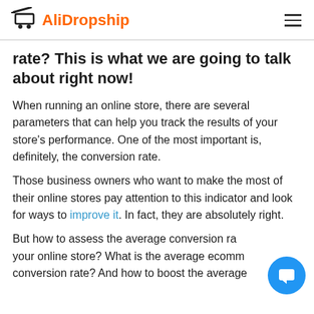AliDropship
rate? This is what we are going to talk about right now!
When running an online store, there are several parameters that can help you track the results of your store's performance. One of the most important is, definitely, the conversion rate.
Those business owners who want to make the most of their online stores pay attention to this indicator and look for ways to improve it. In fact, they are absolutely right.
But how to assess the average conversion rate for your online store? What is the average ecommerce conversion rate? And how to boost the average…